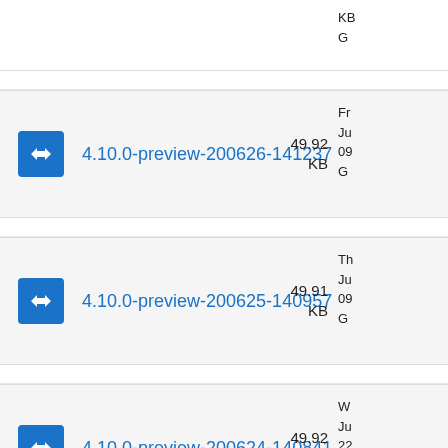KB  G (truncated top row)
4.10.0-preview-200626-141237  49.92 KB  Fr Ju 09 G
4.10.0-preview-200625-140957  49.91 KB  Th Ju 09 G
4.10.0-preview-200624-140841  49.92 KB  W Ju 22 G
49.94  Ju (truncated bottom row)